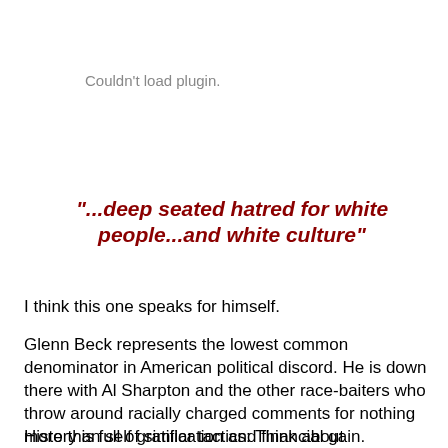Couldn't load plugin.
"...deep seated hatred for white people...and white culture"
I think this one speaks for himself.
Glenn Beck represents the lowest common denominator in American political discord. He is down there with Al Sharpton and the other race-baiters who throw around racially charged comments for nothing more than self gratification and financial gain.
History is full of similar tactics: Think about it...conceptually